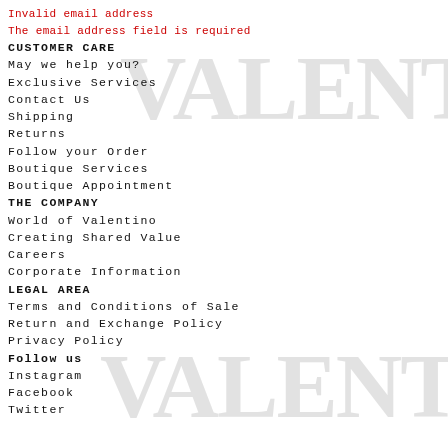Invalid email address
The email address field is required
[Figure (logo): VALENTINO large grey serif logo text, top right background watermark]
CUSTOMER CARE
May we help you?
Exclusive Services
Contact Us
Shipping
Returns
Follow your Order
Boutique Services
Boutique Appointment
THE COMPANY
World of Valentino
Creating Shared Value
Careers
Corporate Information
LEGAL AREA
Terms and Conditions of Sale
Return and Exchange Policy
Privacy Policy
[Figure (logo): VALENTINO large grey serif logo text, bottom right background watermark]
Follow us
Instagram
Facebook
Twitter